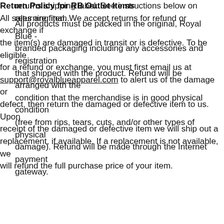returns shipping label. See instructions below on returning item.
All products must be packed in the original, Royal Blue - branded packaging including any accessories and registration that shipped with the product. Refund will be arranged with the condition that the merchandise is in good physical condition (free from rips, tears, cuts, and/or other types of physical damage). Refund will be made through the Internet payment gateway.
Return Policy for RB Outlet Items
All sales are final. We accept returns for refund or exchange if the item(s) are damaged in transit or is defective. To be eligible for a refund or exchange, you must first email us at support@royalblueapparel.com to alert us of the damage or defect, then return the damaged or defective item to us. Upon receipt of the damaged or defective item we will ship out a replacement, if available. If a replacement is not available, we will refund the full purchase price of your item.